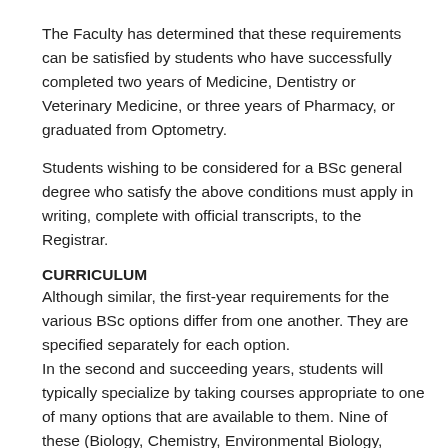The Faculty has determined that these requirements can be satisfied by students who have successfully completed two years of Medicine, Dentistry or Veterinary Medicine, or three years of Pharmacy, or graduated from Optometry.
Students wishing to be considered for a BSc general degree who satisfy the above conditions must apply in writing, complete with official transcripts, to the Registrar.
CURRICULUM
Although similar, the first-year requirements for the various BSc options differ from one another. They are specified separately for each option.
In the second and succeeding years, students will typically specialize by taking courses appropriate to one of many options that are available to them. Nine of these (Biology, Chemistry, Environmental Biology, Geology, Marine Biology, Physics, Psychology, Mathematics, and Statistics) lead naturally to specialization. Seven interdepartmental programs (Biology-Chemistry, Biology Mathematics/Statistics, Biology Psychology,